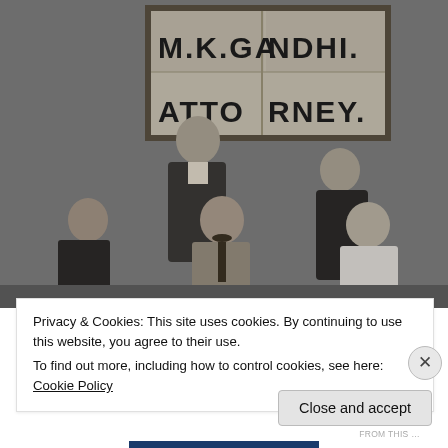[Figure (photo): Black and white historical photograph showing five people in front of a sign reading 'M.K.GANDHI. ATTORNEY.' Three people are standing and two are seated. The central seated figure appears to be M.K. Gandhi.]
Privacy & Cookies: This site uses cookies. By continuing to use this website, you agree to their use.
To find out more, including how to control cookies, see here: Cookie Policy